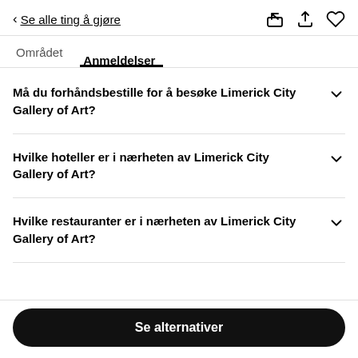Se alle ting å gjøre
Området	Anmeldelser
Må du forhåndsbestille for å besøke Limerick City Gallery of Art?
Hvilke hoteller er i nærheten av Limerick City Gallery of Art?
Hvilke restauranter er i nærheten av Limerick City Gallery of Art?
Se alternativer